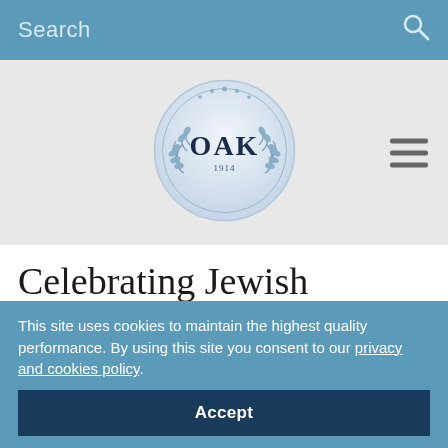Search
[Figure (logo): OAK organization circular badge/seal with laurel wreath design and text 'OAK 1914']
Celebrating Jewish American Heritage Month and Asian American and Pacific Islander
This site uses cookies to maintain the highest quality performance. By using this site you consent to our privacy and cookies policy.
Accept